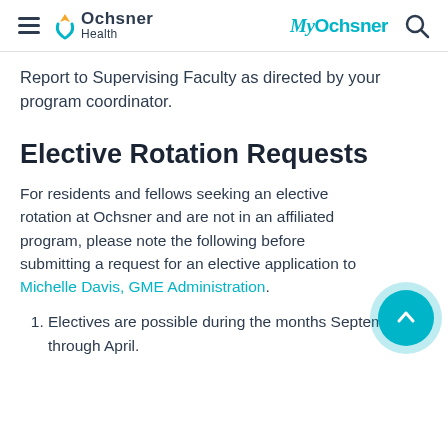Ochsner Health | MyOchsner
Report to Supervising Faculty as directed by your program coordinator.
Elective Rotation Requests
For residents and fellows seeking an elective rotation at Ochsner and are not in an affiliated program, please note the following before submitting a request for an elective application to Michelle Davis, GME Administration.
Electives are possible during the months September through April.